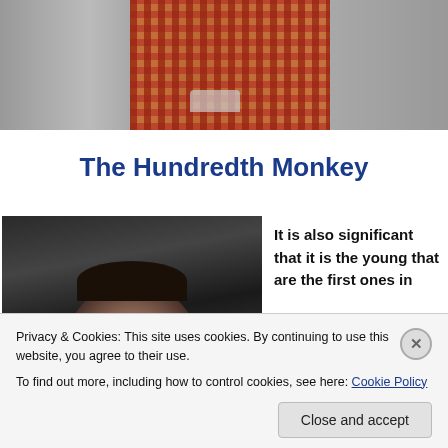[Figure (photo): Top banner photo showing a person in a red/orange plaid skirt or dress, black and white background with a building, partial legs and feet visible]
The Hundredth Monkey
[Figure (photo): Movie still showing a woman looking upward, dark/black background, close-up of her face]
It is also significant that it is the young that are the first ones in
Privacy & Cookies: This site uses cookies. By continuing to use this website, you agree to their use.
To find out more, including how to control cookies, see here: Cookie Policy
Close and accept